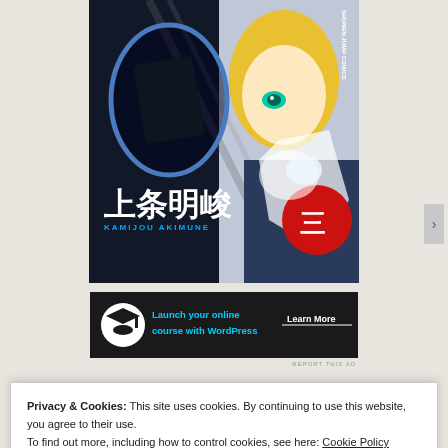[Figure (illustration): Manga/anime book cover showing a blonde character with teal eyes, a blue oval outline on the left, Japanese kanji text '上条明峻' and romanized text 'KAMIJOU AKIMUNE', a red circle with Japanese character on the right, and 'SHONEN JUMP COMICS' text on the spine. Dark navy/blue background with action styling.]
[Figure (screenshot): Advertisement banner with dark background showing a graduation cap icon, cyan text 'Launch your online course with WordPress' and a 'Learn More' button]
REPORT THIS AD
Anyway, let me begin my only slightly spoilerific
Privacy & Cookies: This site uses cookies. By continuing to use this website, you agree to their use.
To find out more, including how to control cookies, see here: Cookie Policy
Close and accept